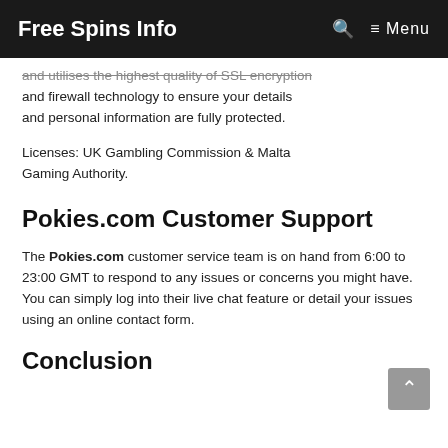Free Spins Info  🔍  ≡ Menu
and utilises the highest quality of SSL encryption and firewall technology to ensure your details and personal information are fully protected.
Licenses: UK Gambling Commission & Malta Gaming Authority.
Pokies.com Customer Support
The Pokies.com customer service team is on hand from 6:00 to 23:00 GMT to respond to any issues or concerns you might have. You can simply log into their live chat feature or detail your issues using an online contact form.
Conclusion